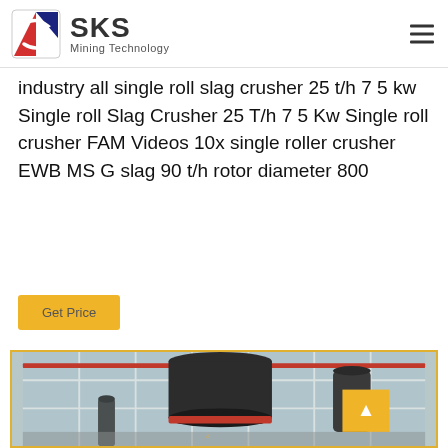SKS Mining Technology
industry all single roll slag crusher 25 t/h 7 5 kw Single roll Slag Crusher 25 T/h 7 5 Kw Single roll crusher FAM Videos 10x single roller crusher EWB MS G slag 90 t/h rotor diameter 800
Get Price
[Figure (photo): Industrial single roll slag crusher machine installed in a factory building with large windows, showing a large black cylindrical crusher unit with red accent ring at base, surrounded by industrial piping and equipment.]